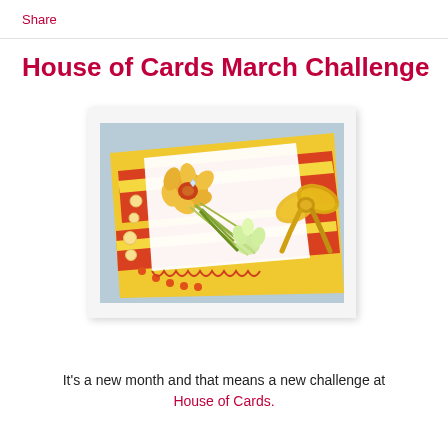Share
House of Cards March Challenge
[Figure (photo): A handmade greeting card decorated with yellow and red/orange stripes, paper daffodil flowers, pearl/rhinestone embellishments, and a golden satin ribbon bow, photographed on a light blue background.]
It's a new month and that means a new challenge at House of Cards.